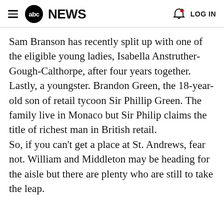abc NEWS   LOG IN
Sam Branson has recently split up with one of the eligible young ladies, Isabella Anstruther-Gough-Calthorpe, after four years together.
Lastly, a youngster. Brandon Green, the 18-year-old son of retail tycoon Sir Phillip Green. The family live in Monaco but Sir Philip claims the title of richest man in British retail.
So, if you can't get a place at St. Andrews, fear not. William and Middleton may be heading for the aisle but there are plenty who are still to take the leap.